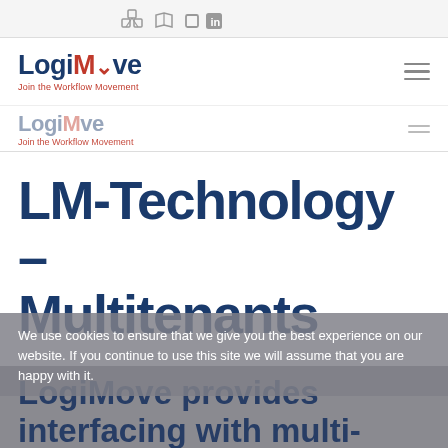[Figure (logo): LogiMove logo with text 'Join the Workflow Movement' in red]
[Figure (logo): Secondary/faded LogiMove logo with tagline 'Join the Workflow Movement']
LM-Technology – Multitenants
We use cookies to ensure that we give you the best experience on our website. If you continue to use this site we will assume that you are happy with it.
LogiMove provides interfacing with multi-tenants along with workflow